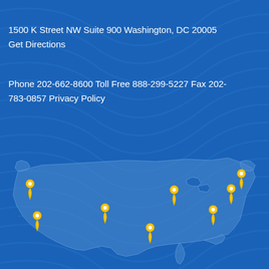1500 K Street NW Suite 900 Washington, DC 20005 Get Directions
Phone 202-662-8600 Toll Free 888-299-5227 Fax 202-783-0857 Privacy Policy
[Figure (map): US map with yellow location pin markers at approximately 8 office locations across the country]